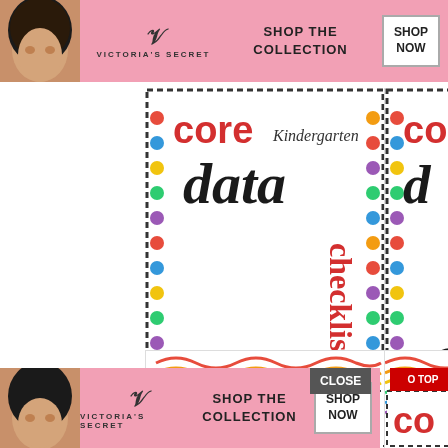[Figure (screenshot): Victoria's Secret advertisement banner at top, pink background, woman's face on left, VS logo, SHOP THE COLLECTION text, SHOP NOW button]
[Figure (illustration): Core Kindergarten Data Checklist book cover, main center image showing cartoon children and colorful polka dot border, red CORE text, cursive 'data', red checklist text, Math & ELA subtitle]
[Figure (illustration): Partial view of second Core book cover on the right side]
[Figure (illustration): Common core book cover partially visible at bottom with rainbow wave pattern and colorful letters spelling 'common']
[Figure (screenshot): CLOSE button dark grey]
[Figure (screenshot): GO TO TOP button in red on far right]
[Figure (screenshot): Victoria's Secret advertisement banner at bottom, pink background, woman's face, VS logo, SHOP THE COLLECTION, SHOP NOW button]